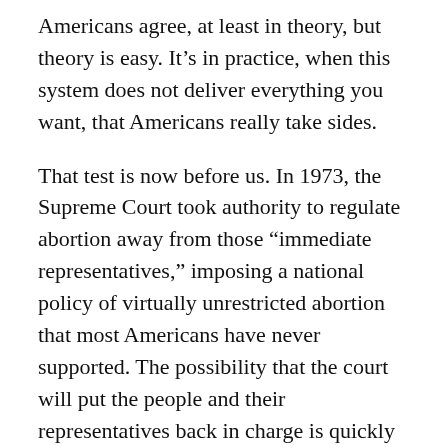Americans agree, at least in theory, but theory is easy. It’s in practice, when this system does not deliver everything you want, that Americans really take sides.
That test is now before us. In 1973, the Supreme Court took authority to regulate abortion away from those “immediate representatives,” imposing a national policy of virtually unrestricted abortion that most Americans have never supported. The possibility that the court will put the people and their representatives back in charge is quickly exposing who respects their fellow citizens and who just wants the power to control them.
America’s founders wrote the Constitution down, the Supreme Court explained in Marbury v. Madison, so